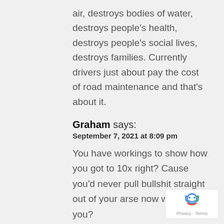air, destroys bodies of water, destroys people's health, destroys people's social lives, destroys families. Currently drivers just about pay the cost of road maintenance and that's about it.
Graham says:
September 7, 2021 at 8:09 pm
You have workings to show how you got to 10x right? Cause you'd never pull bullshit straight out of your arse now would you?
You also know that roughly a quarter of all road users taxes over the next
[Figure (other): reCAPTCHA badge with robot icon and Privacy - Terms text]